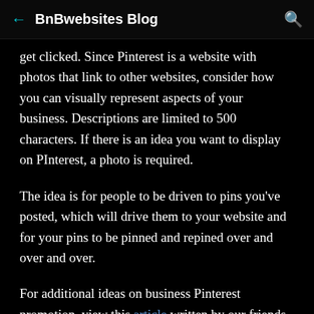BnBwebsites Blog
get clicked. Since Pinterest is a website with photos that link to other websites, consider how you can visually represent aspects of your business. Descriptions are limited to 500 characters. If there is an idea you want to display on PInterest, a photo is required.
The idea is for people to be driven to pins you've posted, which will drive them to your website and for your pins to be pinned and repined over and over and over.
For additional ideas on business Pinterest promotion, view this article written by our friends at Suite Exchange.